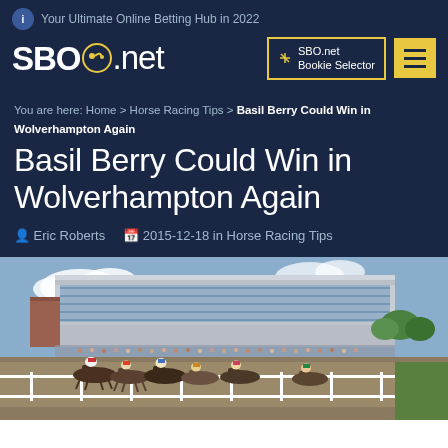Your Ultimate Online Betting Hub in 2022
SBO.net | SBO.net Bookie Selector
You are here: Home > Horse Racing Tips > Basil Berry Could Win in Wolverhampton Again
Basil Berry Could Win in Wolverhampton Again
Eric Roberts  2015-12-18 in Horse Racing Tips
[Figure (photo): Horses racing on a track in front of the Wolverhampton Racecourse grandstand building with jockeys in colorful silks]